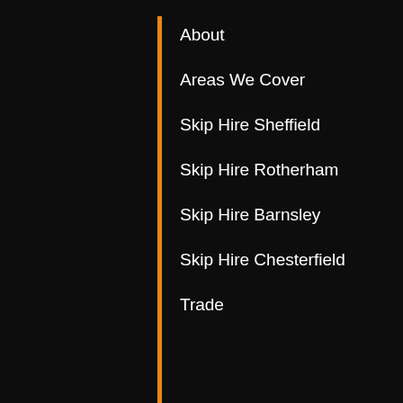About
Areas We Cover
Skip Hire Sheffield
Skip Hire Rotherham
Skip Hire Barnsley
Skip Hire Chesterfield
Trade
Blog
FAQS
Contact Us
Downloads
Testimonials
Privacy Policy
Terms of use